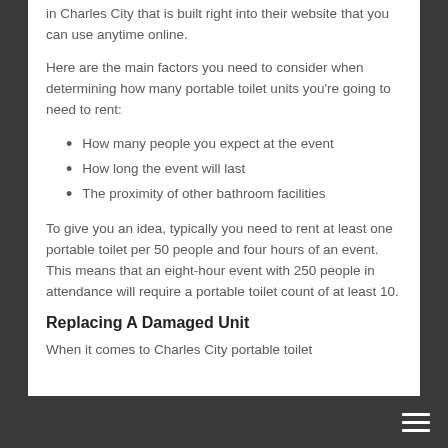in Charles City that is built right into their website that you can use anytime online.
Here are the main factors you need to consider when determining how many portable toilet units you're going to need to rent:
How many people you expect at the event
How long the event will last
The proximity of other bathroom facilities
To give you an idea, typically you need to rent at least one portable toilet per 50 people and four hours of an event. This means that an eight-hour event with 250 people in attendance will require a portable toilet count of at least 10.
Replacing A Damaged Unit
When it comes to Charles City portable toilet